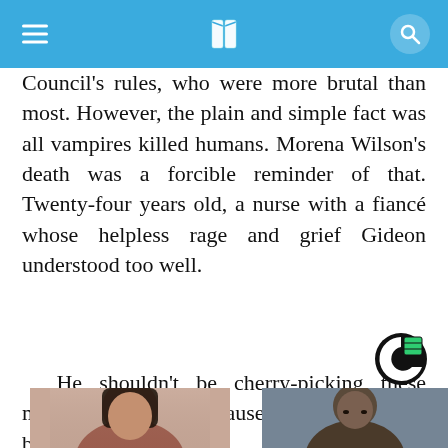Council's rules, who were more brutal than most. However, the plain and simple fact was all vampires killed humans. Morena Wilson's death was a forcible reminder of that. Twenty-four years old, a nurse with a fiancé whose helpless rage and grief Gideon understood too well.
He shouldn't be cherry-picking these monsters, merely because his brother had become one of them.
[Figure (logo): Circular logo with green and black coloring, letter C shape]
[Figure (photo): Portrait photo of a woman with long dark hair]
[Figure (photo): Portrait photo of a man]